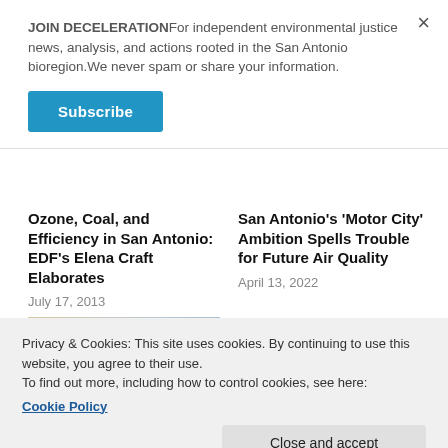JOIN DECELERATIONFor independent environmental justice news, analysis, and actions rooted in the San Antonio bioregion.We never spam or share your information.
Subscribe
Ozone, Coal, and Efficiency in San Antonio: EDF’s Elena Craft Elaborates
July 17, 2013
[Figure (photo): Thumbnail image for article about Ozone, Coal, and Efficiency in San Antonio]
San Antonio’s ‘Motor City’ Ambition Spells Trouble for Future Air Quality
April 13, 2022
Privacy & Cookies: This site uses cookies. By continuing to use this website, you agree to their use.
To find out more, including how to control cookies, see here:
Cookie Policy
Close and accept
Protect Residents